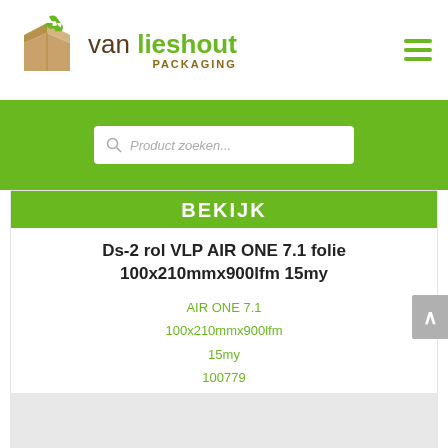[Figure (logo): Van Lieshout Packaging logo with brown cardboard box graphic and green recycling arrows, company name in brown and green text, PACKAGING subtitle in gold/brown, hamburger menu icon in green]
[Figure (screenshot): Green search bar with white search input field showing placeholder text 'Product zoeken...' and a magnifying glass icon]
BEKIJK
Ds-2 rol VLP AIR ONE 7.1 folie 100x210mmx900lfm 15my
AIR ONE 7.1
100x210mmx900lfm
15my
100779
€ 134,00
[Figure (illustration): Bottom portion of a second product card/image partially visible at the bottom of the page, gray/white area]